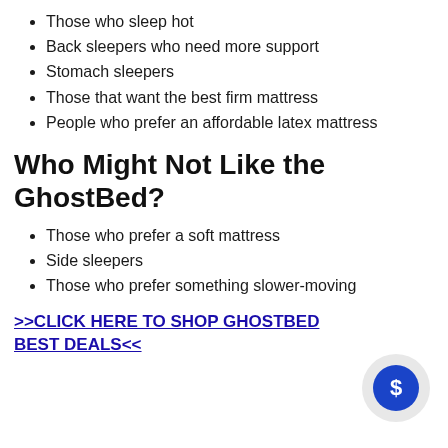Those who sleep hot
Back sleepers who need more support
Stomach sleepers
Those that want the best firm mattress
People who prefer an affordable latex mattress
Who Might Not Like the GhostBed?
Those who prefer a soft mattress
Side sleepers
Those who prefer something slower-moving
>>CLICK HERE TO SHOP GHOSTBED BEST DEALS<<